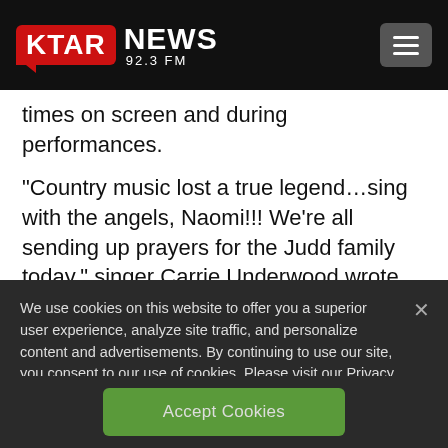KTAR NEWS 92.3 FM
times on screen and during performances.
“Country music lost a true legend…sing with the angels, Naomi!!! We’re all sending up prayers for the Judd family today,” singer Carrie Underwood wrote on Twitter.
We use cookies on this website to offer you a superior user experience, analyze site traffic, and personalize content and advertisements. By continuing to use our site, you consent to our use of cookies. Please visit our Privacy Policy for more information.
Accept Cookies